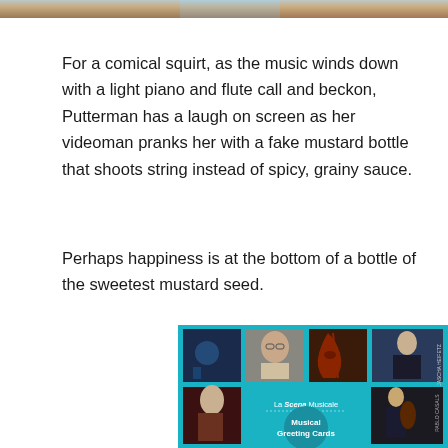[Figure (photo): Partial image of a scene visible at the top of the page, cropped]
For a comical squirt, as the music winds down with a light piano and flute call and beckon, Putterman has a laugh on screen as her videoman pranks her with a fake mustard bottle that shoots string instead of spicy, grainy sauce.
Perhaps happiness is at the bottom of a bottle of the sweetest mustard seed.
[Figure (photo): La Scena Musicale Musical Greeting Cards promotional image showing a collage of music-related photos including musicians, instruments, and performers on a teal/blue background]